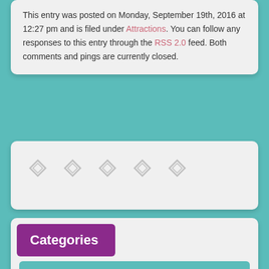This entry was posted on Monday, September 19th, 2016 at 12:27 pm and is filed under Attractions. You can follow any responses to this entry through the RSS 2.0 feed. Both comments and pings are currently closed.
[Figure (other): Five diamond/cross placeholder icons in a row, gray colored, indicating unloaded images]
Categories
Activities
South West London